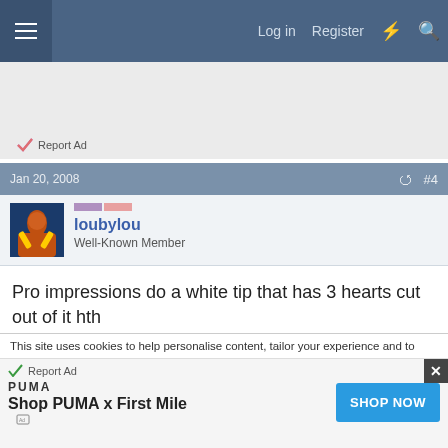Log in   Register
[Figure (other): Advertisement banner area with 'Report Ad' link]
Jan 20, 2008   #4
loubylou
Well-Known Member
Pro impressions do a white tip that has 3 hearts cut out of it hth
This site uses cookies to help personalise content, tailor your experience and to
[Figure (other): Bottom advertisement bar with Report Ad link and PUMA Shop PUMA x First Mile ad with SHOP NOW button and close button]